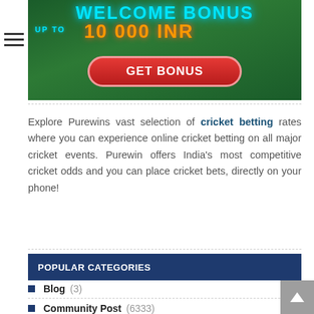[Figure (illustration): Welcome Bonus advertisement banner showing 'WELCOME BONUS UP TO 10 000 INR' with a GET BONUS button on a green football/soccer field background]
Explore Purewins vast selection of cricket betting rates where you can experience online cricket betting on all major cricket events. Purewin offers India's most competitive cricket odds and you can place cricket bets, directly on your phone!
POPULAR CATEGORIES
Blog (3)
Community Post (6333)
Diaspora (750)